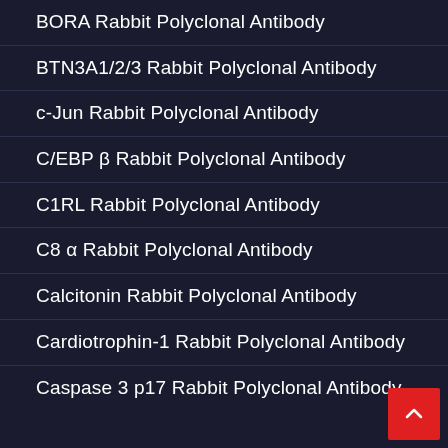BORA Rabbit Polyclonal Antibody
BTN3A1/2/3 Rabbit Polyclonal Antibody
c-Jun Rabbit Polyclonal Antibody
C/EBP β Rabbit Polyclonal Antibody
C1RL Rabbit Polyclonal Antibody
C8 α Rabbit Polyclonal Antibody
Calcitonin Rabbit Polyclonal Antibody
Cardiotrophin-1 Rabbit Polyclonal Antibody
Caspase 3 p17 Rabbit Polyclonal Antibody